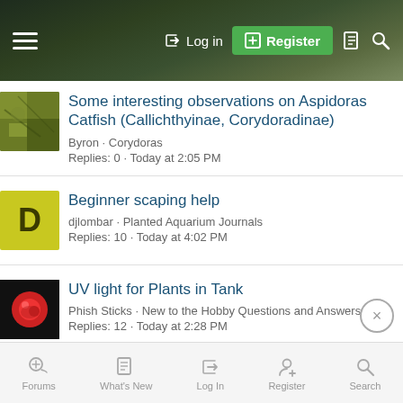Log in | Register
Some interesting observations on Aspidoras Catfish (Callichthyinae, Corydoradinae) · Byron · Corydoras · Replies: 0 · Today at 2:05 PM
Beginner scaping help · djlombar · Planted Aquarium Journals · Replies: 10 · Today at 4:02 PM
UV light for Plants in Tank · Phish Sticks · New to the Hobby Questions and Answers · Replies: 12 · Today at 2:28 PM
Forums · What's New · Log In · Register · Search